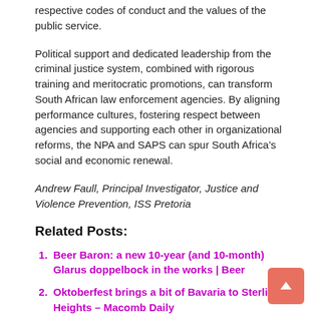respective codes of conduct and the values of the public service.
Political support and dedicated leadership from the criminal justice system, combined with rigorous training and meritocratic promotions, can transform South African law enforcement agencies. By aligning performance cultures, fostering respect between agencies and supporting each other in organizational reforms, the NPA and SAPS can spur South Africa’s social and economic renewal.
Andrew Faull, Principal Investigator, Justice and Violence Prevention, ISS Pretoria
Related Posts:
Beer Baron: a new 10-year (and 10-month) Glarus doppelbock in the works | Beer
Oktoberfest brings a bit of Bavaria to Sterling Heights – Macomb Daily
VW CEO wants you to consider biking more?
German consumers believe a fast, reliable internet will promote a more sustainable lifestyle